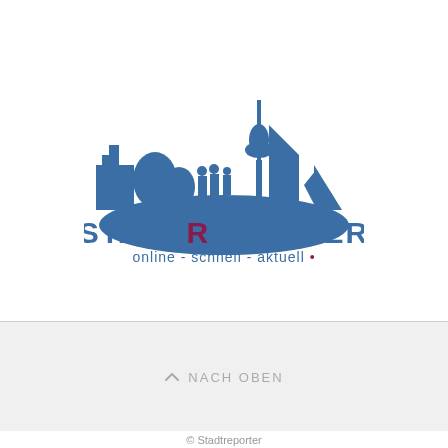[Figure (logo): StadtReporter logo: blue city skyline silhouette with TV tower, buildings, trees and people on a rounded hill, with text 'StadtReporter' and tagline 'online - schnell - aktuell .']
^ NACH OBEN
© Stadtreporter